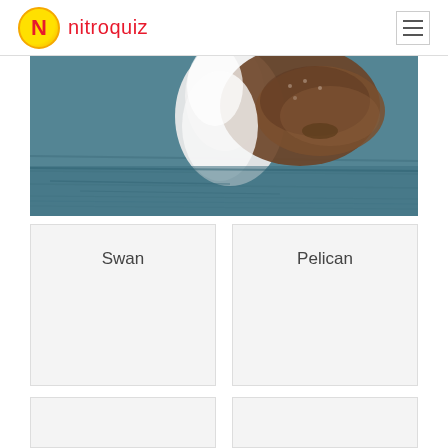nitroquiz
[Figure (photo): A bird (swan or seabird) swimming on water, showing white body and dark brown wing area, photographed from behind/side]
Swan
Pelican